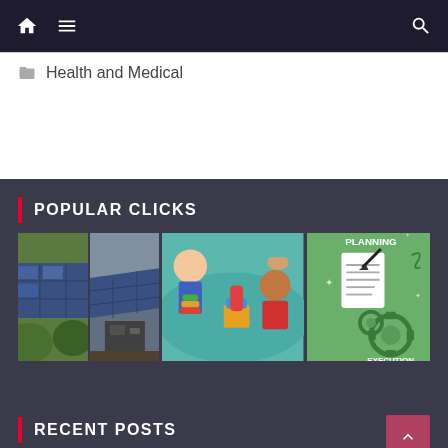Navigation bar with home, menu, and search icons
Health and Medical
POPULAR CLICKS
[Figure (photo): Two solar panel images side by side — left shows ground-mounted solar panels among vegetation, right shows angled solar panels with equipment]
[Figure (photo): Children sitting at a teal table playing with colorful stacking toys, an adult hand visible guiding them]
[Figure (illustration): Green background infographic showing a document with 'PLANNING' text at top, gears below labeled 'EXECUTION', and a hand holding a pen]
RECENT POSTS